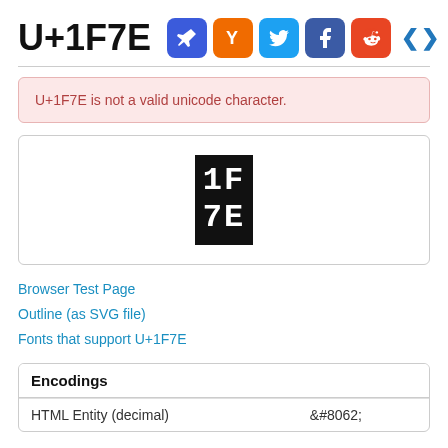U+1F7E
U+1F7E is not a valid unicode character.
[Figure (other): Black box showing the text '1F 7E' in white monospace font, representing the unicode character placeholder.]
Browser Test Page
Outline (as SVG file)
Fonts that support U+1F7E
|  |  |
| --- | --- |
| HTML Entity (decimal) | &#8062; |